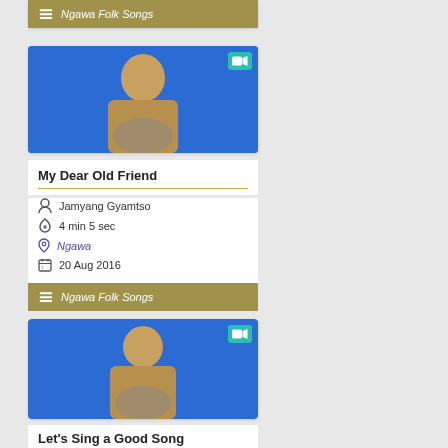[Figure (screenshot): Top partial card showing Ngawa Folk Songs category bar]
[Figure (screenshot): Card for My Dear Old Friend video with thumbnail of performer against blue background]
My Dear Old Friend
Jamyang Gyamtso
4 min 5 sec
Ngawa
20 Aug 2016
[Figure (screenshot): Ngawa Folk Songs category bar for My Dear Old Friend card]
[Figure (screenshot): Card for Let's Sing a Good Song video with thumbnail of performer against blue background]
Let's Sing a Good Song